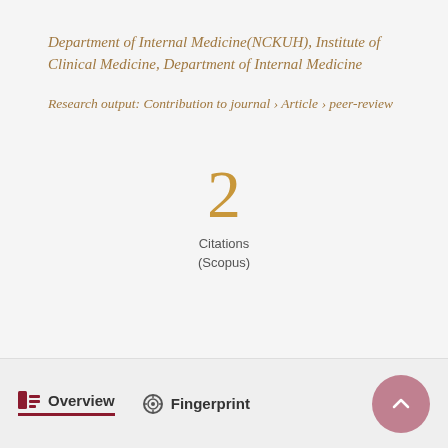Department of Internal Medicine(NCKUH), Institute of Clinical Medicine, Department of Internal Medicine
Research output: Contribution to journal › Article › peer-review
2
Citations
(Scopus)
Overview   Fingerprint